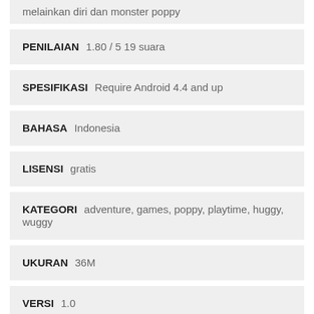melainkan diri dan monster poppy
PENILAIAN  1.80 / 5 19 suara
SPESIFIKASI  Require Android 4.4 and up
BAHASA  Indonesia
LISENSI  gratis
KATEGORI  adventure, games, poppy, playtime, huggy, wuggy
UKURAN  36M
VERSI  1.0